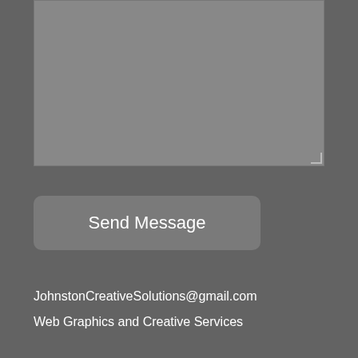[Figure (screenshot): Gray textarea input box with resize handle in bottom-right corner]
[Figure (screenshot): Send Message button, gray rounded rectangle]
JohnstonCreativeSolutions@gmail.com
Web Graphics and Creative Services
Integrity Web Technology
Web Design & Development
[Figure (screenshot): RSS feed icon (orange rounded square) and Twitter bird icon (white rounded square with blue bird)]